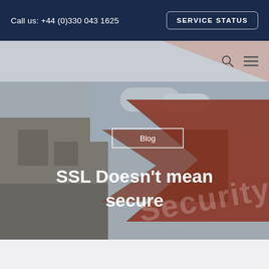Call us: +44 (0)330 043 1625   SERVICE STATUS
Blog
SSL Doesn't mean secure
[Figure (photo): Hero image of a brutalist concrete building with overcast sky on the left, overlaid with dark red/terracotta geometric chevron arrow shapes and the word 'Security' watermarked in the background, with a Blog label and headline text overlay.]